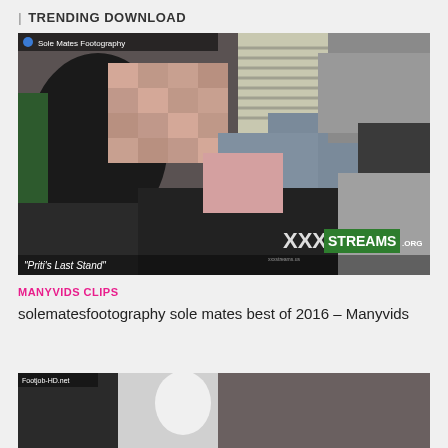TRENDING DOWNLOAD
[Figure (screenshot): Video thumbnail showing blurred figures on a bed, with overlay text 'Priti's Last Stand' and XXX STREAMS .ORG watermark. Top label reads 'Sole Mates Footography']
MANYVIDS CLIPS
solematesfootography sole mates best of 2016 – Manyvids
[Figure (screenshot): Partial video thumbnail showing Footjob-HD.net watermark]